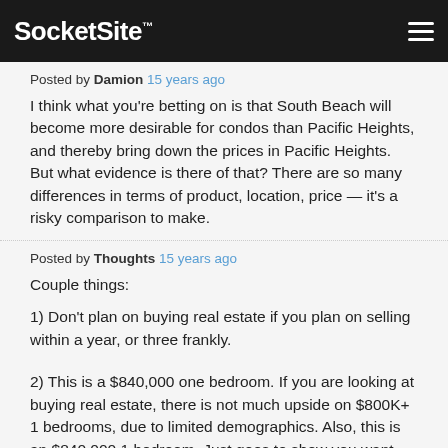SocketSite™
Posted by Damion 15 years ago
I think what you're betting on is that South Beach will become more desirable for condos than Pacific Heights, and thereby bring down the prices in Pacific Heights. But what evidence is there of that? There are so many differences in terms of product, location, price — it's a risky comparison to make.
Posted by Thoughts 15 years ago
Couple things:
1) Don't plan on buying real estate if you plan on selling within a year, or three frankly.
2) This is a $840,000 one bedroom. If you are looking at buying real estate, there is not much upside on $800K+ 1 bedrooms, due to limited demographics. Also, this is an $840,000 1 bedroom. Just goes to show you want people are comfortable with.
3) Look at any 2 or 3 bedroom condo or house bought in 2005 selling now. Prices are up 20-30%. Look at 2745 Laguna St. purchased for $1.2 mil, now in contract for $1.595 mil. Or 1330